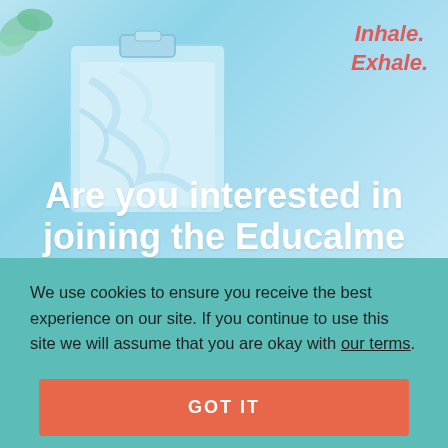[Figure (photo): Light blue background with a clipboard holding blue marbled paper, a plant in the top left corner, and a water bottle with 'Inhale. Exhale.' text on the right side.]
Are you interested in joining the Educalme Loyalty Program?
We use cookies to ensure you receive the best experience on our site. If you continue to use this site we will assume that you are okay with our terms.
GOT IT